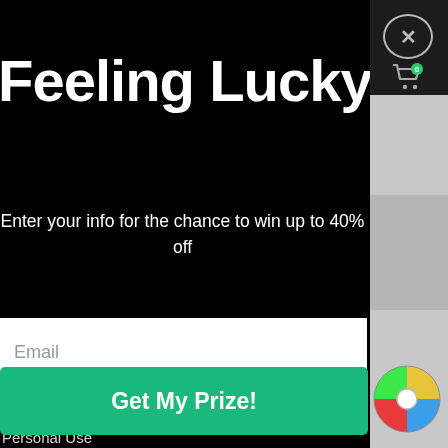Feeling Lucky?
Enter your info for the chance to win up to 40% off
Email (input field placeholder)
I'm shopping for:
Personal Use
Professional Use
Gift/Other
Get My Prize! (button)